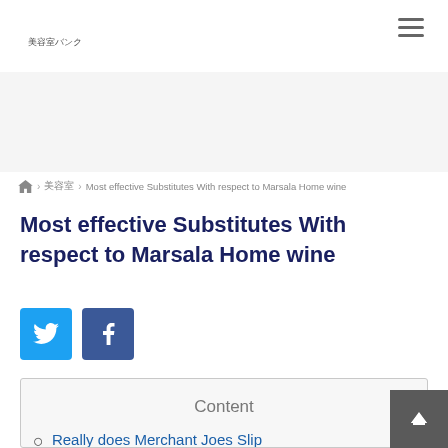美容室バンク (hamburger menu icon)
breadcrumb: home > 美容室 > Most effective Substitutes With respect to Marsala Home wine
Most effective Substitutes With respect to Marsala Home wine
[Figure (other): Twitter and Facebook social share buttons]
Content
Really does Merchant Joes Slip